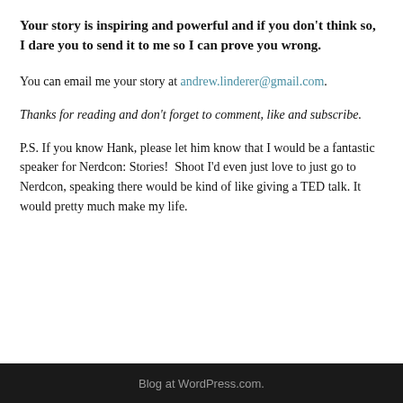Your story is inspiring and powerful and if you don't think so, I dare you to send it to me so I can prove you wrong.
You can email me your story at andrew.linderer@gmail.com.
Thanks for reading and don't forget to comment, like and subscribe.
P.S. If you know Hank, please let him know that I would be a fantastic speaker for Nerdcon: Stories!  Shoot I'd even just love to just go to Nerdcon, speaking there would be kind of like giving a TED talk. It would pretty much make my life.
Blog at WordPress.com.